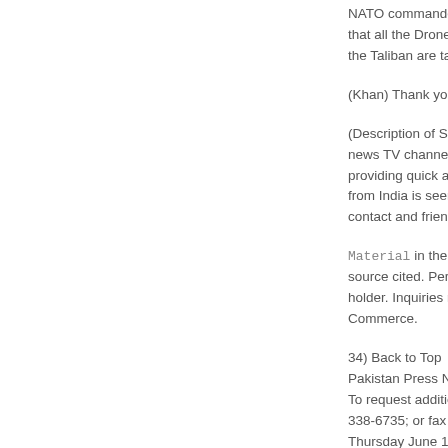NATO commanders that all the Drones fe the Taliban are targe
(Khan) Thank you ve
(Description of Sourc news TV channel owr providing quick and c from India is seen as contact and friendly
Material in the Worlc source cited. Permis holder. Inquiries reg Commerce.
34) Back to Top Pakistan Press Nawa To request additiona 338-6735; or fax (70 Thursday June 10, 2( pictures on page one Chinese deputy prim Chinese deputy prim Zardari, Foreign Min Abdullah Gul. The lo